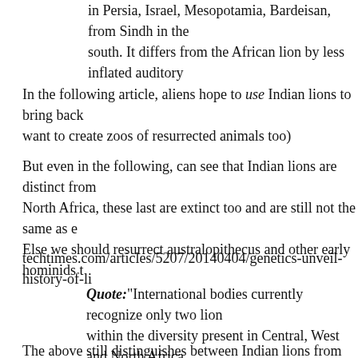in Persia, Israel, Mesopotamia, Bardeisan, from Sindh in the south. It differs from the African lion by less inflated auditory
In the following article, aliens hope to use Indian lions to bring back want to create zoos of resurrected animals too)
But even in the following, can see that Indian lions are distinct from North Africa, these last are extinct too and are still not the same as e Else we should resurrect australopithecus and other early hominids t
techtimes.com/articles/5207/20140404/genetics-unveil-history-of-li
Quote:"International bodies currently recognize only two lion within the diversity present in Central, West and North Africa which may be close to extinction, with estimates of 800 lions Barbary, Iranian, and Indian lion populations are noteworthy g Barbary lion has attracted the attention of conservationists bo
The above still distinguishes between Indian lions from the extinct B